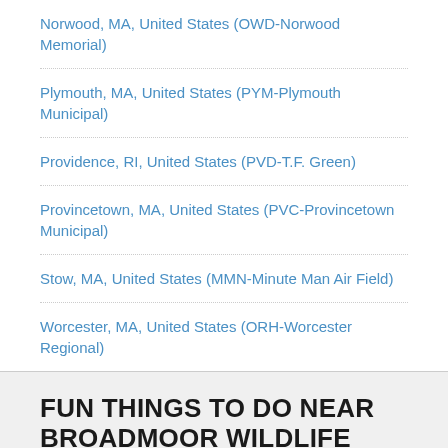Norwood, MA, United States (OWD-Norwood Memorial)
Plymouth, MA, United States (PYM-Plymouth Municipal)
Providence, RI, United States (PVD-T.F. Green)
Provincetown, MA, United States (PVC-Provincetown Municipal)
Stow, MA, United States (MMN-Minute Man Air Field)
Worcester, MA, United States (ORH-Worcester Regional)
FUN THINGS TO DO NEAR BROADMOOR WILDLIFE SANCTUARY AREA
Top tourist attractions and popular landmarks near Broadmoor Wildlife Sanctuary.
Abbott Park